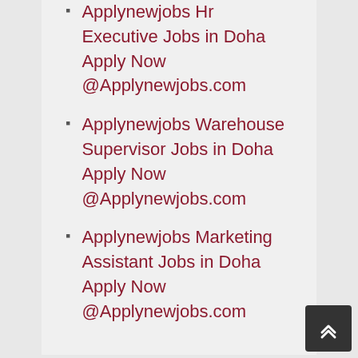Applynewjobs Hr Executive Jobs in Doha Apply Now @Applynewjobs.com
Applynewjobs Warehouse Supervisor Jobs in Doha Apply Now @Applynewjobs.com
Applynewjobs Marketing Assistant Jobs in Doha Apply Now @Applynewjobs.com
Categories
Dhahran
Doha
Dukhan